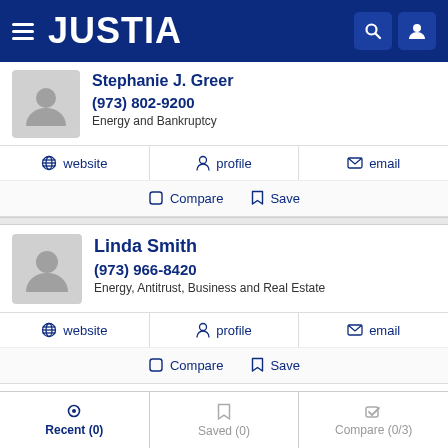JUSTIA
Stephanie J. Greer
(973) 802-9200
Energy and Bankruptcy
website  profile  email
Compare  Save
Linda Smith
(973) 966-8420
Energy, Antitrust, Business and Real Estate
website  profile  email
Compare  Save
Recent (0)  Saved (0)  Compare (0/3)